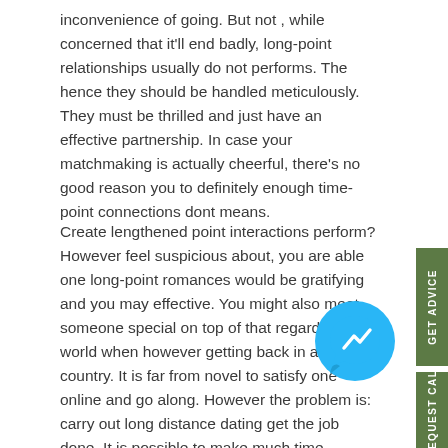inconvenience of going. But not , while concerned that it'll end badly, long-point relationships usually do not performs. The hence they should be handled meticulously. They must be thrilled and just have an effective partnership. In case your matchmaking is actually cheerful, there's no good reason you to definitely enough time-point connections dont means.
Create lengthened point interactions perform? However feel suspicious about, you are able one long-point romances would be gratifying and you may effective. You might also meet someone special on top of that regarding the world when however getting back in a similar country. It is far from novel to satisfy one online and go along. However the problem is: carry out long distance dating get the job done. It is possible to make much time matchmaking happens when you are develop fully and you may philosophy. If you're not sure on exactly how to keep up regarding it, test it.
[Figure (other): Facebook Messenger chat bubble icon (blue circle with white lightning bolt / chat symbol)]